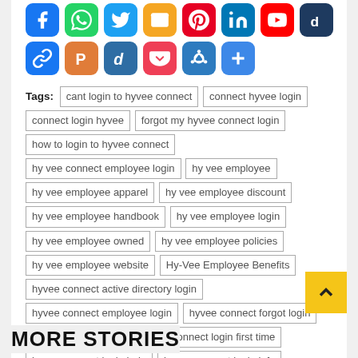[Figure (infographic): Two rows of social media sharing icon buttons: Facebook, WhatsApp, Twitter, Email, Pinterest, LinkedIn, YouTube, Digg (row 1); Link, Parler, Diigo, Pocket, VK/Knot, Plus/More (row 2)]
Tags: cant login to hyvee connect | connect hyvee login | connect login hyvee | forgot my hyvee connect login | how to login to hyvee connect | hy vee connect employee login | hy vee employee | hy vee employee apparel | hy vee employee discount | hy vee employee handbook | hy vee employee login | hy vee employee owned | hy vee employee policies | hy vee employee website | Hy-Vee Employee Benefits | hyvee connect active directory login | hyvee connect employee login | hyvee connect forgot login | hyvee connect login | hyvee connect login first time | hyvee connect login help | hyvee connect login info | hyvee connect wont let me login in | hyvee employee connect login
Previous
How To Use Robocheck? Websites Similar To Robocheck
Next
Mass Ez Pass Login | Mass Ez Pass Account Login
MORE STORIES